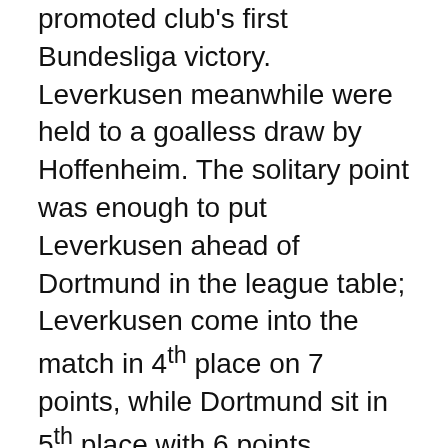promoted club's first Bundesliga victory. Leverkusen meanwhile were held to a goalless draw by Hoffenheim. The solitary point was enough to put Leverkusen ahead of Dortmund in the league table; Leverkusen come into the match in 4th place on 7 points, while Dortmund sit in 5th place with 6 points.
It wouldn't have been an international break without some Dortmund related injuries. This window bit BVB and Switzerland center-back Manuel Akanji, who suffered an ankle injury, as well as left-back Nico Schulz who was injured during Germany's EURO 2020 qualifiers against the Netherlands. Both players are doubts for Saturday's match. Axel Witsel and Thorgan Hazard could return from injuries suffered prior to the international break, which would give BVB a major boost in midfielder and attack. Leverkusen have few